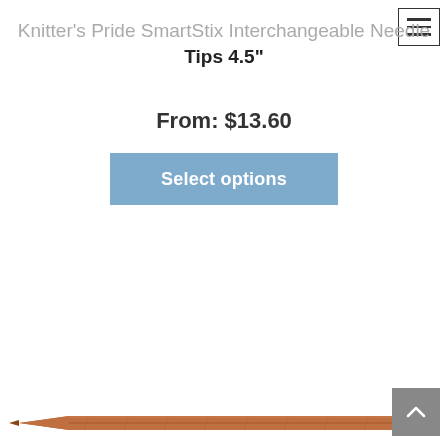Knitter's Pride SmartStix Interchangeable Needle Tips 4.5"
From: $13.60
Select options
[Figure (photo): A wooden interchangeable knitting needle tip, 4.5 inches long, with a dark brown metal connector end and a warm reddish-brown wood body tapering to a point.]